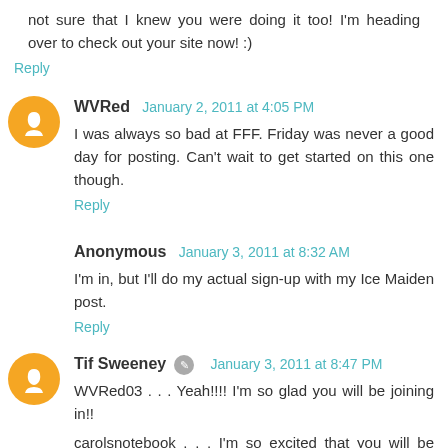not sure that I knew you were doing it too! I'm heading over to check out your site now! :)
Reply
WVRed  January 2, 2011 at 4:05 PM
I was always so bad at FFF. Friday was never a good day for posting. Can't wait to get started on this one though.
Reply
Anonymous  January 3, 2011 at 8:32 AM
I'm in, but I'll do my actual sign-up with my Ice Maiden post.
Reply
Tif Sweeney  January 3, 2011 at 8:47 PM
WVRed03 . . . Yeah!!!! I'm so glad you will be joining in!!
carolsnotebook . . . I'm so excited that you will be joining